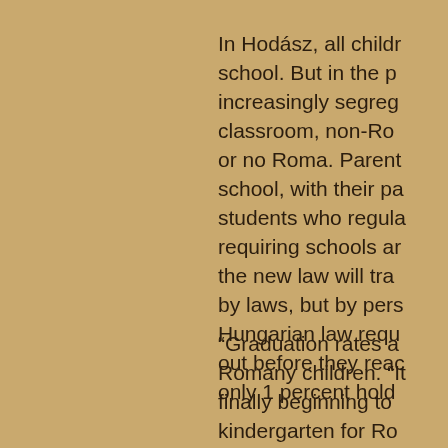In Hodász, all children attend school. But in the past, increasingly segregated classroom, non-Roma or no Roma. Parents school, with their students who regularly requiring schools and the new law will transfer by laws, but by persons Hungarian law requires out before they reach only 1 percent hold
“Graduation rates among Romany children. “It is finally beginning to kindergarten for Roma enroll in the kindergarten